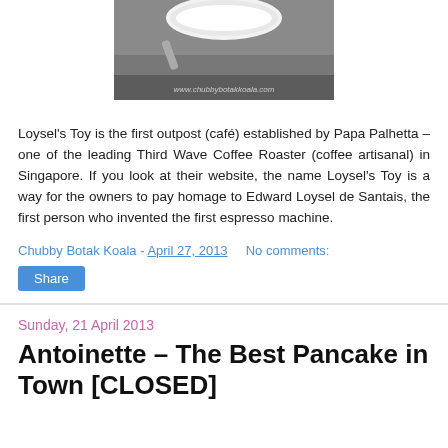[Figure (photo): Top portion of a cup/bowl on a dark stone surface with watermark www.chubbybotakkoala.com]
Loysel's Toy is the first outpost (café) established by Papa Palhetta – one of the leading Third Wave Coffee Roaster (coffee artisanal) in Singapore. If you look at their website, the name Loysel's Toy is a way for the owners to pay homage to Edward Loysel de Santais, the first person who invented the first espresso machine.
Chubby Botak Koala - April 27, 2013    No comments:
Share
Sunday, 21 April 2013
Antoinette – The Best Pancake in Town [CLOSED]